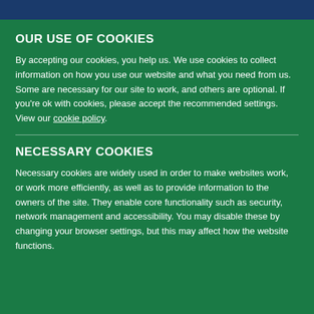OUR USE OF COOKIES
By accepting our cookies, you help us. We use cookies to collect information on how you use our website and what you need from us. Some are necessary for our site to work, and others are optional. If you're ok with cookies, please accept the recommended settings. View our cookie policy.
NECESSARY COOKIES
Necessary cookies are widely used in order to make websites work, or work more efficiently, as well as to provide information to the owners of the site. They enable core functionality such as security, network management and accessibility. You may disable these by changing your browser settings, but this may affect how the website functions.